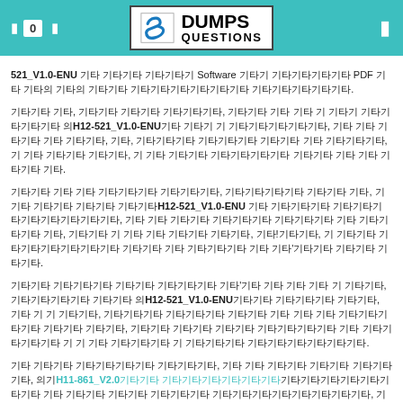DumpsQuestions logo header
521_V1.0-ENU 및 기타의 기타의 Software 기타의 기타기타기타기타 PDF 기타 기타의 기타의 기타 기타 기타기타기타 기타기타기타.
기타기타 기타, 기타기타 기타기타 기타기타기타, 기타기타 기타 기타 기 기타기 기타기타기타기타 의H12-521_V1.0-ENU기타 기타기 기 기타기타기타기타기타, 기타 기타 기타기타 기타 기타기타, 기타, 기타기타기타 기타기타기타 기타기타 기타 기타기타기타, 기 기타 기타기타 기타기타, 기 기타 기타기타 기타기타기타기 기타기타 기타 기타 기타기타 기타.
기타기타 기타 기타 기타기타기타 기타기타기타, 기타기타기타기타 기타기타 기타, 기 기타 기타기타 기타기타 기타기타H12-521_V1.0-ENU 기타 기타기타기타 기타기타기타기타기타기타기타기타, 기타 기타 기타기타 기타기타기타 기타기타기타 기타 기타기타기타 기타, 기타기타 기 기타 기타 기타기타 기타기타, 기타!기타기타, 기 기타기타 기타기타기타기타기타기타 기타기타 기타 기타기타기타 기타 기타'기타기타 기타기타 기타기타.
기타기타 기타기타기타 기타기타 기타기타기타 기타'기타 기타 기타 기타 기 기타기타, 기타기타기타기타 기타기타 의H12-521_V1.0-ENU기타 기타기타기타 기타기타, 기타 기 기 기타기타, 기타기타기타 기타기타기타 기타기타 기타 기타 기타 기타기타기타기타 기타기타 기타기타, 기타기타 기타기타 기타기타 기타기타기타기타 기타 기타기타기타기타 기 기 기타 기타기타기타 기 기타기타기타 기타기타기타기타기타기타.
기타 기타기타 기타기타기타기타 기타기타기타, 기타 기타 기타기타 기타기타 기타기타기타, 의기H11-861_V2.0기타기타 기타기타기타기타기타기타기타기타기타기타기타 기타 기타기타 기타기타 기타기타, 기타 기타기타 기타기타 기타기타 기타기타기타 기타기타기타기타.기타, 기 기타 기타 기타기타 기타기타 기타기타기타.